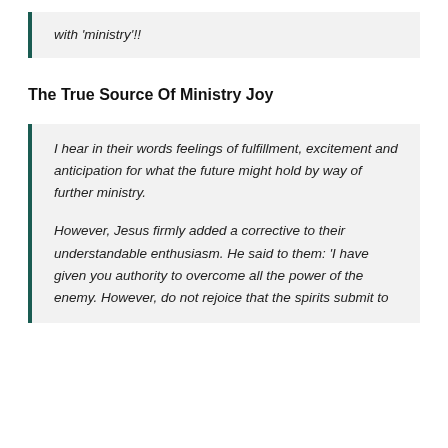with 'ministry'!!
The True Source Of Ministry Joy
I hear in their words feelings of fulfillment, excitement and anticipation for what the future might hold by way of further ministry.

However, Jesus firmly added a corrective to their understandable enthusiasm. He said to them: 'I have given you authority to overcome all the power of the enemy. However, do not rejoice that the spirits submit to